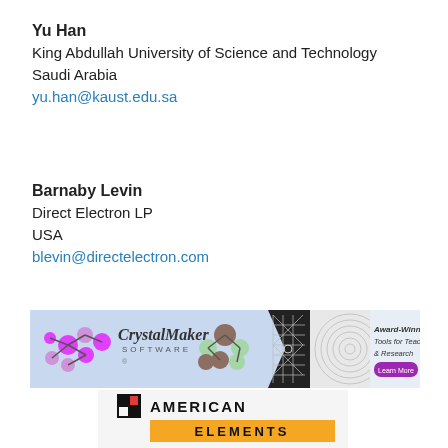Yu Han
King Abdullah University of Science and Technology
Saudi Arabia
yu.han@kaust.edu.sa
Barnaby Levin
Direct Electron LP
USA
blevin@directelectron.com
[Figure (illustration): CrystalMaker Software banner advertisement showing molecular structure graphics and text 'Award-Winning Tools for Teaching & Research – Learn More']
[Figure (logo): American Elements logo with red and black grid square icon and text 'AMERICAN ELEMENTS' on orange bar]